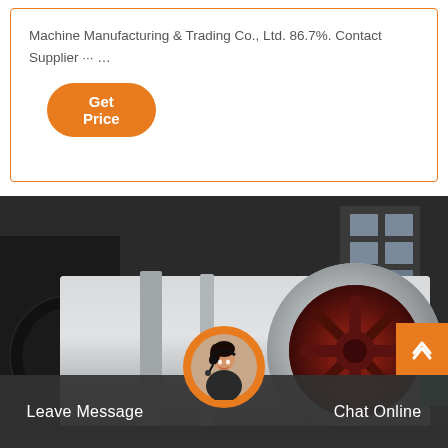Machine Manufacturing & Trading Co., Ltd. 86.7%. Contact Supplier ··· …
[Figure (other): Button labeled 'Get Price' with orange background and rounded corners]
[Figure (photo): Industrial photo of a large white cylindrical ball mill or rotary drum machine with a red interior opening, photographed inside a factory/warehouse. The machine has a large gear ring visible on the left side.]
Leave Message
Chat Online